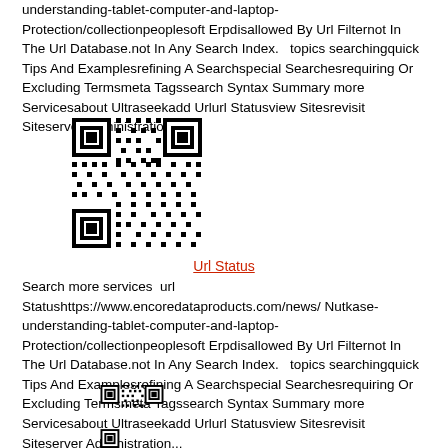understanding-tablet-computer-and-laptop-Protection/collectionpeoplesoft Erpdisallowed By Url Filternot In The Url Database.not In Any Search Index.   topics searchingquick Tips And Examplesrefining A Searchspecial Searchesrequiring Or Excluding Termsmeta Tagssearch Syntax Summary more Servicesabout Ultraseekadd Urlurl Statusview Sitesrevisit Siteserver Administration...
[Figure (other): QR code image]
Url Status
Search more services  url Statushttps://www.encoredataproducts.com/news/ Nutkase-understanding-tablet-computer-and-laptop-Protection/collectionpeoplesoft Erpdisallowed By Url Filternot In The Url Database.not In Any Search Index.   topics searchingquick Tips And Examplesrefining A Searchspecial Searchesrequiring Or Excluding Termsmeta Tagssearch Syntax Summary more Servicesabout Ultraseekadd Urlurl Statusview Sitesrevisit Siteserver Administration...
[Figure (other): QR code image]